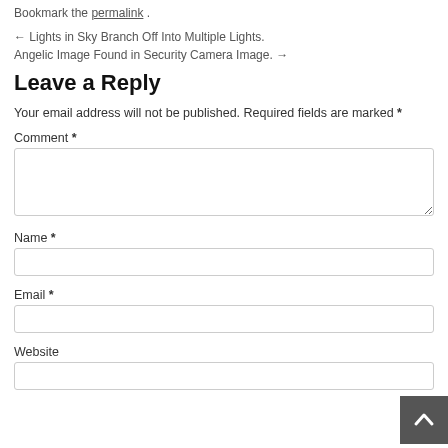Bookmark the permalink .
← Lights in Sky Branch Off Into Multiple Lights.
Angelic Image Found in Security Camera Image. →
Leave a Reply
Your email address will not be published. Required fields are marked *
Comment *
Name *
Email *
Website